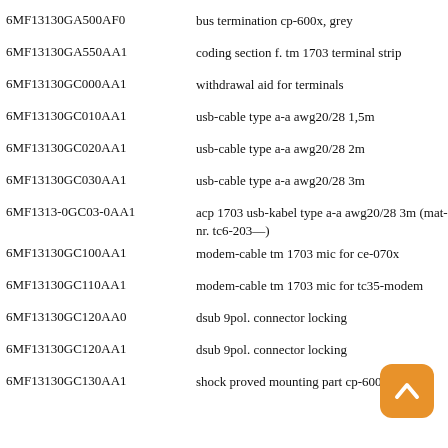6MF13130GA500AF0 — bus termination cp-600x, grey
6MF13130GA550AA1 — coding section f. tm 1703 terminal strip
6MF13130GC000AA1 — withdrawal aid for terminals
6MF13130GC010AA1 — usb-cable type a-a awg20/28 1,5m
6MF13130GC020AA1 — usb-cable type a-a awg20/28 2m
6MF13130GC030AA1 — usb-cable type a-a awg20/28 3m
6MF1313-0GC03-0AA1 — acp 1703 usb-kabel type a-a awg20/28 3m (mat-nr. tc6-203—)
6MF13130GC100AA1 — modem-cable tm 1703 mic for ce-070x
6MF13130GC110AA1 — modem-cable tm 1703 mic for tc35-modem
6MF13130GC120AA0 — dsub 9pol. connector locking
6MF13130GC120AA1 — dsub 9pol. connector locking
6MF13130GC130AA1 — shock proved mounting part cp-6003, 4003